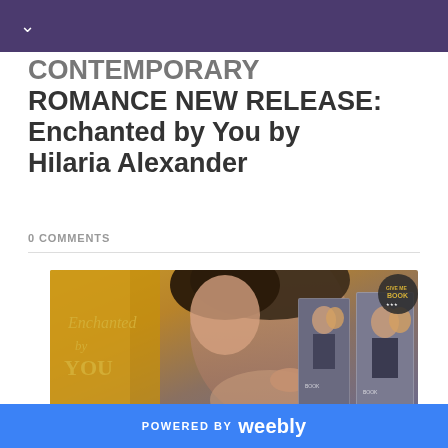CONTEMPORARY ROMANCE NEW RELEASE: Enchanted by You by Hilaria Alexander
0 COMMENTS
[Figure (photo): Book cover promotional banner for 'Enchanted by You' by Hilaria Alexander — shows a romantic couple nearly kissing, with golden/warm tones on the left, the book title in script lettering, and two physical book mockups on the right. A circular badge reads 'GIVE ME BOOKS'.]
POWERED BY weebly